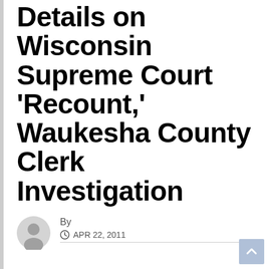Details on Wisconsin Supreme Court 'Recount,' Waukesha County Clerk Investigation
By
APR 22, 2011
Kloppenburg filing for special investigator alleges Prosser met